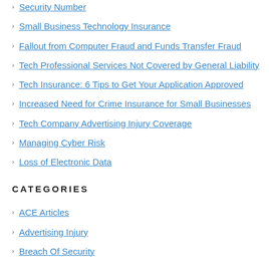Security Number
Small Business Technology Insurance
Fallout from Computer Fraud and Funds Transfer Fraud
Tech Professional Services Not Covered by General Liability
Tech Insurance: 6 Tips to Get Your Application Approved
Increased Need for Crime Insurance for Small Businesses
Tech Company Advertising Injury Coverage
Managing Cyber Risk
Loss of Electronic Data
CATEGORIES
ACE Articles
Advertising Injury
Breach Of Security